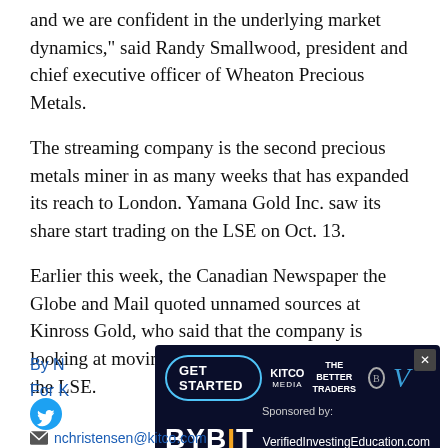and we are confident in the underlying market dynamics," said Randy Smallwood, president and chief executive officer of Wheaton Precious Metals.
The streaming company is the second precious metals miner in as many weeks that has expanded its reach to London. Yamana Gold Inc. saw its share start trading on the LSE on Oct. 13.
Earlier this week, the Canadian Newspaper the Globe and Mail quoted unnamed sources at Kinross Gold, who said that the company is looking at moving forward with its plant to list on the LSE.
By N
For K
[Figure (other): Advertisement banner for Kitco Media / VerifiedInvestingEducation.com / BYBIT, with GET STARTED button, on dark blue background]
nchristensen@kitco.com
www.kitco.com